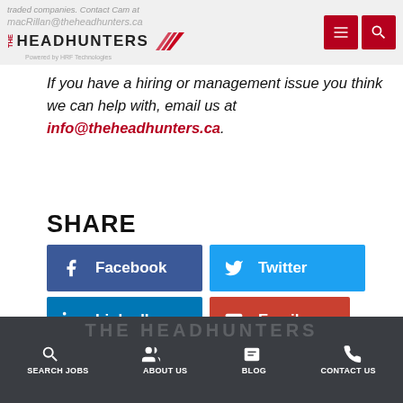traded companies. Contact Cam at macRillan@theheadhunters.ca | THE HEADHUNTERS - Powered by HRF Technologies
If you have a hiring or management issue you think we can help with, email us at info@theheadhunters.ca.
SHARE
[Figure (infographic): Social share buttons: Facebook (blue), Twitter (light blue), LinkedIn (blue), Email (red)]
TIMESHEET | 888.887.4868 | THE HEADHUNTERS | SEARCH JOBS | ABOUT US | BLOG | CONTACT US